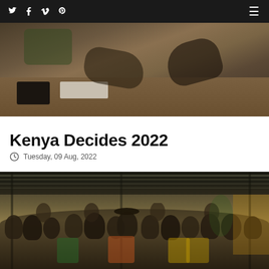Social icons: Twitter, Facebook, Vimeo, Pinterest | Hamburger menu
[Figure (photo): Close-up photo of hands at a desk, election registration or voting process in Kenya]
Kenya Decides 2022
Tuesday, 09 Aug, 2022
[Figure (photo): Group of people standing together under a metal roof structure, appearing to be political figures or candidates during Kenya 2022 elections]